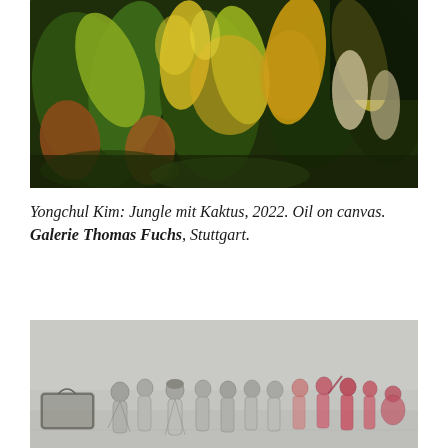[Figure (illustration): Oil painting detail showing densely painted tropical or jungle foliage in yellows, greens, and dark tones — Yongchul Kim, Jungle mit Kaktus, 2022]
Yongchul Kim: Jungle mit Kaktus, 2022. Oil on canvas. Galerie Thomas Fuchs, Stuttgart.
[Figure (illustration): Pencil and red chalk drawing of a group of people — women and children — standing together, partially rendered in graphite, partially in red, suggesting a crowd or refugee scene]